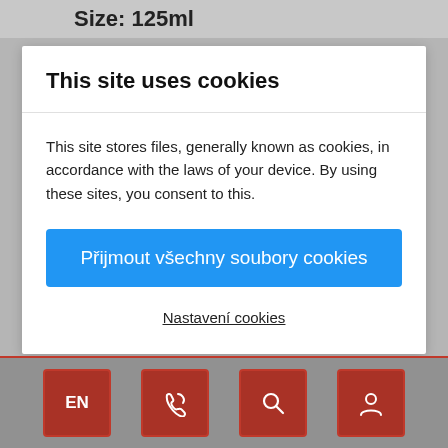Size: 125ml
This site uses cookies
This site stores files, generally known as cookies, in accordance with the laws of your device. By using these sites, you consent to this.
Přijmout všechny soubory cookies
Nastavení cookies
16 OTHER PRODUCTS IN THE SAME CATEGORY:
[Figure (screenshot): Footer navigation bar with four red square icon buttons: EN (language), phone/call icon, search icon, and user/account icon]